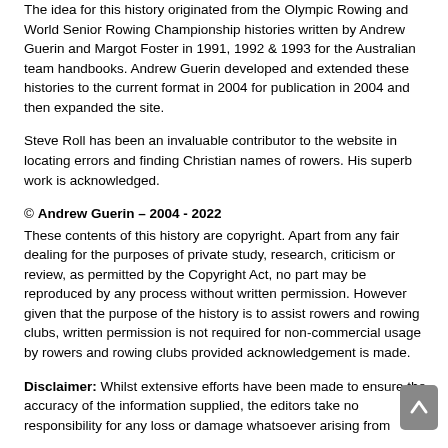The idea for this history originated from the Olympic Rowing and World Senior Rowing Championship histories written by Andrew Guerin and Margot Foster in 1991, 1992 & 1993 for the Australian team handbooks. Andrew Guerin developed and extended these histories to the current format in 2004 for publication in 2004 and then expanded the site.
Steve Roll has been an invaluable contributor to the website in locating errors and finding Christian names of rowers. His superb work is acknowledged.
© Andrew Guerin – 2004 - 2022
These contents of this history are copyright. Apart from any fair dealing for the purposes of private study, research, criticism or review, as permitted by the Copyright Act, no part may be reproduced by any process without written permission. However given that the purpose of the history is to assist rowers and rowing clubs, written permission is not required for non-commercial usage by rowers and rowing clubs provided acknowledgement is made.
Disclaimer: Whilst extensive efforts have been made to ensure the accuracy of the information supplied, the editors take no responsibility for any loss or damage whatsoever arising from